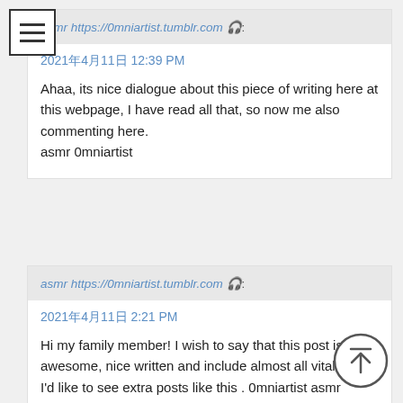[Figure (other): Hamburger menu icon (three horizontal lines in a square border)]
asmr https://0mniartist.tumblr.com 🎧:
2021年4月11日 12:39 PM
Ahaa, its nice dialogue about this piece of writing here at this webpage, I have read all that, so now me also commenting here.
asmr 0mniartist
asmr https://0mniartist.tumblr.com 🎧:
2021年4月11日 2:21 PM
Hi my family member! I wish to say that this post is awesome, nice written and include almost all vital infos. I'd like to see extra posts like this . 0mniartist asmr
[Figure (other): Back to top button: upward arrow inside a circle]